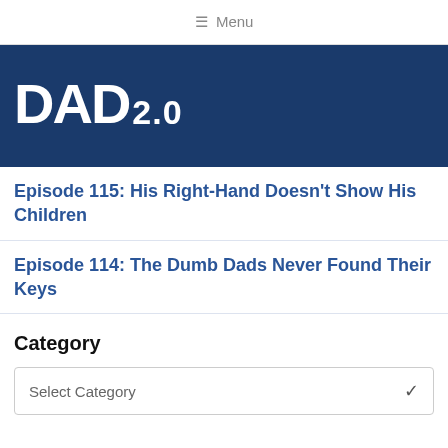≡ Menu
[Figure (logo): DAD 2.0 logo in white text on dark navy blue background]
Episode 115: His Right-Hand Doesn't Show His Children
Episode 114: The Dumb Dads Never Found Their Keys
Category
Select Category
AS SEEN IN
[Figure (logo): The New York Times logo partial, italic serif font]